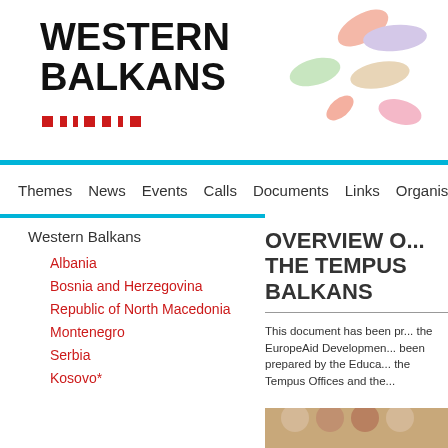[Figure (logo): Western Balkans logo with colorful pill shapes]
Themes  News  Events  Calls  Documents  Links  Organis...
Western Balkans
Albania
Bosnia and Herzegovina
Republic of North Macedonia
Montenegro
Serbia
Kosovo*
OVERVIEW O... THE TEMPUS... BALKANS
This document has been pr... the EuropeAid Developmen... been prepared by the Educa... the Tempus Offices and the...
[Figure (photo): Photo of people]